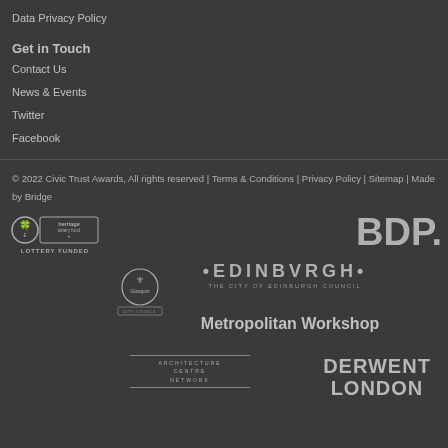Data Privacy Policy
Get in Touch
Contact Us
News & Events
Twitter
Facebook
© 2022 Civic Trust Awards, All rights reserved | Terms & Conditions | Privacy Policy | Sitemap | Made by Bridge
[Figure (logo): Heritage Lottery Fund – Lottery Funded logo]
[Figure (logo): BDP logo]
[Figure (logo): Glasgow City Council logo]
[Figure (logo): Edinburgh – The City of Edinburgh Council logo]
[Figure (logo): Metropolitan Workshop logo]
[Figure (logo): Architecture Centre Network logo]
[Figure (logo): Derwent London logo]